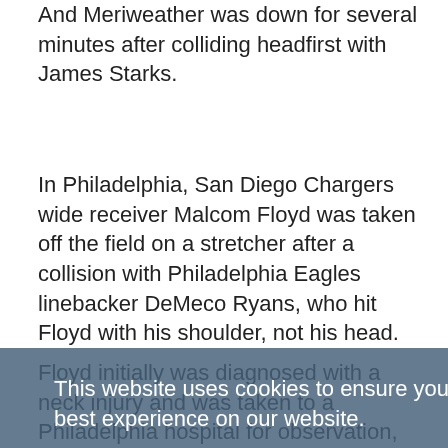And Meriweather was down for several minutes after colliding headfirst with James Starks.
In Philadelphia, San Diego Chargers wide receiver Malcom Floyd was taken off the field on a stretcher after a collision with Philadelphia Eagles linebacker DeMeco Ryans, who hit Floyd with his shoulder, not his head.
Floyd initially was diagnosed with a neck injury and was taken to a Philadelphia hospital for observation, but he was expected to be OK.
The hits on Lacy, Starks and Floyd did not result in penalties.
Floyd was cleared to fly home with the Chargers on Sunday evening.
This website uses cookies to ensure you get the best experience on our website. Learn more Got it!